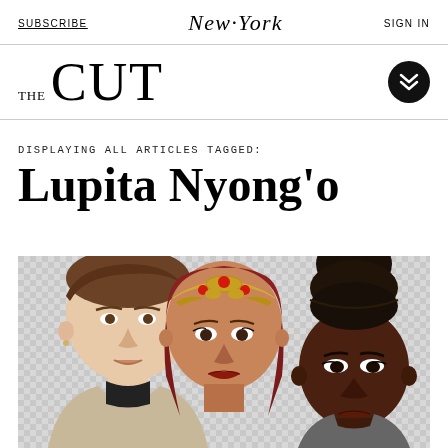SUBSCRIBE | New York | SIGN IN
THE CUT
DISPLAYING ALL ARTICLES TAGGED:
Lupita Nyong'o
[Figure (photo): Three celebrities shown from roughly chest up against a checkered transparent background: a young white man with slicked brown hair on the left, a woman with red-brown hair and an ornate gold headpiece in the middle, and a Black woman with a large stacked bun hairstyle on the right (Lupita Nyong'o).]